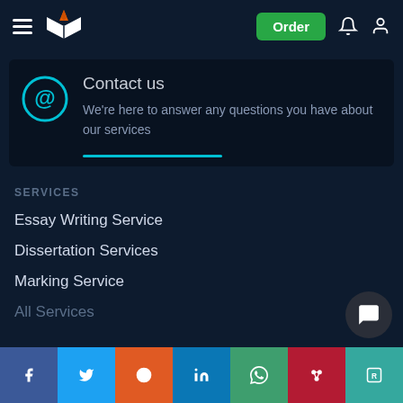[Figure (screenshot): Navigation bar with hamburger menu, pen/book logo, Order button, bell icon, and user icon]
Contact us
We're here to answer any questions you have about our services
SERVICES
Essay Writing Service
Dissertation Services
Marking Service
All Services
[Figure (infographic): Social sharing bar with Facebook, Twitter, Reddit, LinkedIn, WhatsApp, Mendeley, and ResearchGate buttons]